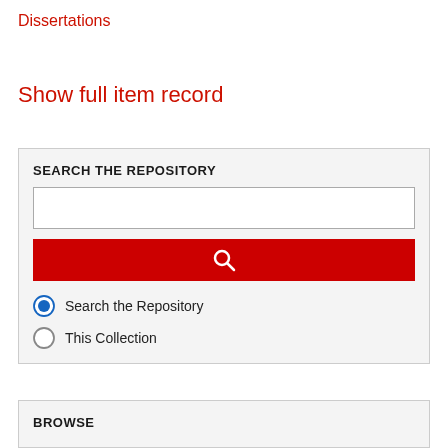Dissertations
Show full item record
SEARCH THE REPOSITORY
Search the Repository
This Collection
BROWSE